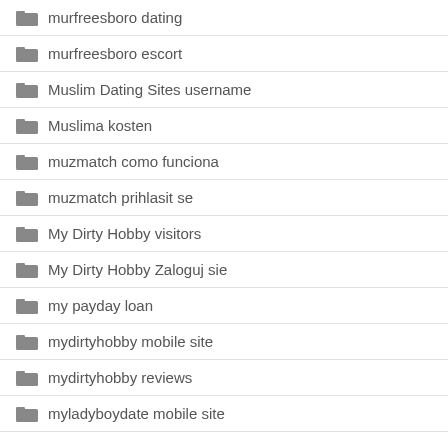murfreesboro dating
murfreesboro escort
Muslim Dating Sites username
Muslima kosten
muzmatch como funciona
muzmatch prihlasit se
My Dirty Hobby visitors
My Dirty Hobby Zaloguj sie
my payday loan
mydirtyhobby mobile site
mydirtyhobby reviews
myladyboydate mobile site